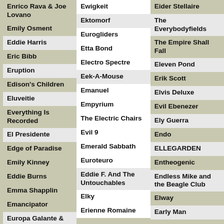Enrico Rava & Joe Lovano
Ewigkeit
Eider Stellaire
Emily Osment
Ektomorf
The Everybodyfields
Eddie Harris
Eurogliders
The Empire Shall Fall
Eric Bibb
Etta Bond
Eleven Pond
Eruption
Electro Spectre
Erik Scott
Edison's Children
Eek-A-Mouse
Elvis Deluxe
Eluveitie
Emanuel
Evil Ebenezer
Everything Is Recorded
Empyrium
Ely Guerra
El Presidente
The Electric Chairs
Endo
Edge of Paradise
Evil 9
ELLEGARDEN
Emily Kinney
Emerald Sabbath
Entheogenic
Eddie Burns
Euroteuro
Endless Mike and the Beagle Club
Emma Shapplin
Eddie F. And The Untouchables
Elway
Emancipator
Elky
Early Man
Europa Galante &
Erienne Romaine